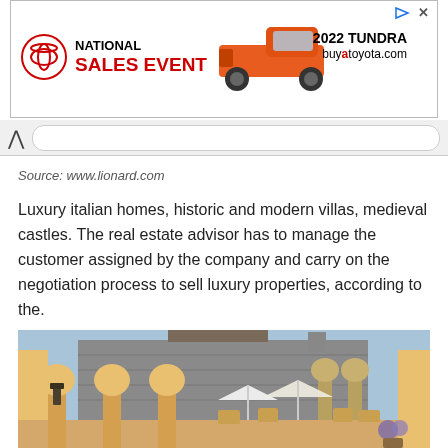[Figure (other): Toyota National Sales Event advertisement banner showing an orange 2022 Tundra truck with Toyota logo, text 'NATIONAL SALES EVENT', '2022 TUNDRA', and 'buyatoyota.com']
Source: www.lionard.com
Luxury italian homes, historic and modern villas, medieval castles. The real estate advisor has to manage the customer assigned by the company and carry on the negotiation process to sell luxury properties, according to the.
[Figure (photo): Photo of a luxury Italian property courtyard with yellow arched colonnade columns, stone historic building in the background, outdoor dining area with white umbrellas and chairs, blue sky]